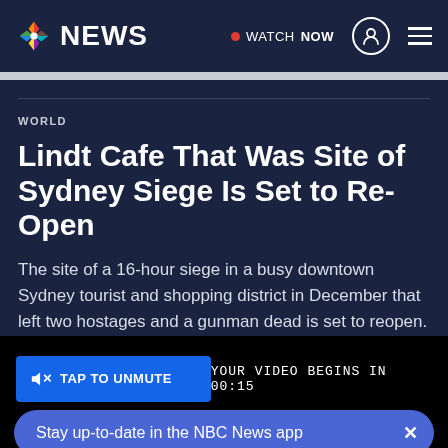NBC NEWS — WATCH NOW
WORLD
Lindt Cafe That Was Site of Sydney Siege Is Set to Re-Open
The site of a 16-hour siege in a busy downtown Sydney tourist and shopping district in December that left two hostages and a gunman dead is set to reopen.
[Figure (screenshot): Video player area with TAP TO UNMUTE button, countdown 'YOUR VIDEO BEGINS IN 00:15', and NBC News app banner 'Stay up-to-date in the NBC News app']